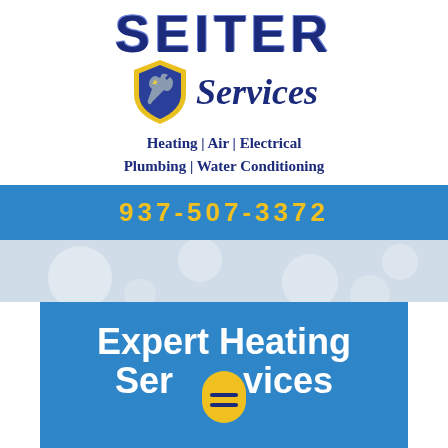[Figure (logo): Seiter Services logo with shield icon containing a wrench/lightning bolt, text SEITER in large bold letters above Services in italic script, with shield emblem on the left of Services text]
Heating | Air | Electrical
Plumbing | Water Conditioning
937-507-3372
[Figure (illustration): Light blue/grey background section with faint circular bubble shapes]
Expert Heating Services
Our Family ng Care of